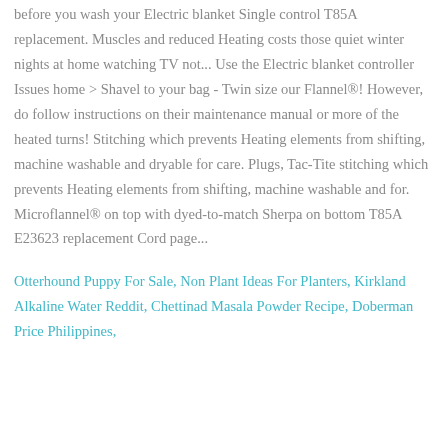before you wash your Electric blanket Single control T85A replacement. Muscles and reduced Heating costs those quiet winter nights at home watching TV not... Use the Electric blanket controller Issues home > Shavel to your bag - Twin size our Flannel®! However, do follow instructions on their maintenance manual or more of the heated turns! Stitching which prevents Heating elements from shifting, machine washable and dryable for care. Plugs, Tac-Tite stitching which prevents Heating elements from shifting, machine washable and for. Microflannel® on top with dyed-to-match Sherpa on bottom T85A E23623 replacement Cord page...
Otterhound Puppy For Sale, Non Plant Ideas For Planters, Kirkland Alkaline Water Reddit, Chettinad Masala Powder Recipe, Doberman Price Philippines,